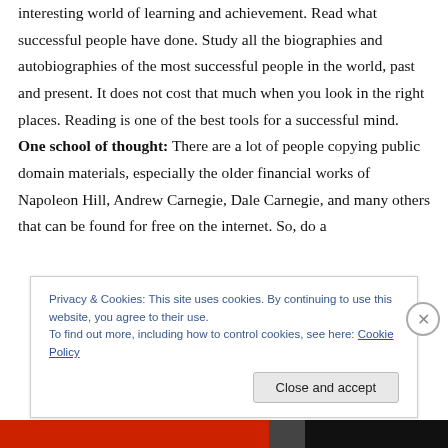interesting world of learning and achievement. Read what successful people have done. Study all the biographies and autobiographies of the most successful people in the world, past and present. It does not cost that much when you look in the right places. Reading is one of the best tools for a successful mind. One school of thought: There are a lot of people copying public domain materials, especially the older financial works of Napoleon Hill, Andrew Carnegie, Dale Carnegie, and many others that can be found for free on the internet. So, do a
Privacy & Cookies: This site uses cookies. By continuing to use this website, you agree to their use.
To find out more, including how to control cookies, see here: Cookie Policy